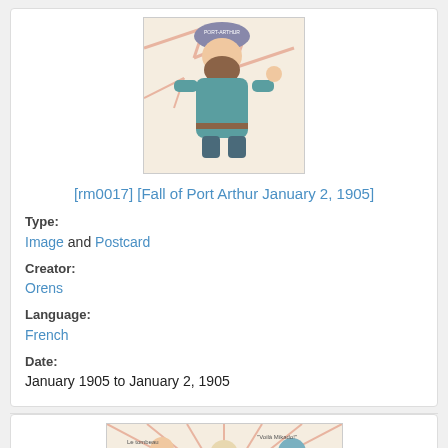[Figure (illustration): Cartoon postcard illustration of a bearded man in a teal/green coat wearing a hat labeled 'Port Arthur', with lightning bolt designs in the background. Style is caricature.]
[rm0017] [Fall of Port Arthur January 2, 1905]
Type:
Image and Postcard
Creator:
Orens
Language:
French
Date:
January 1905 to January 2, 1905
[Figure (illustration): Bottom portion of a second postcard illustration showing figures with radiating lines in background, partially visible.]